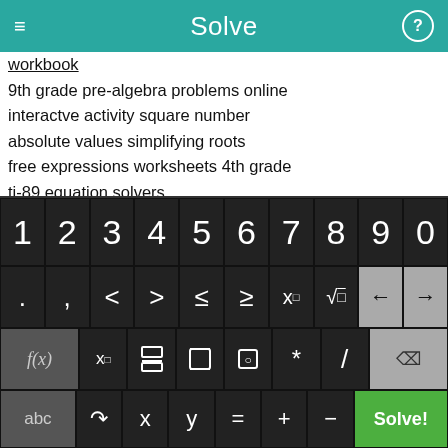Solve
workbook
9th grade pre-algebra problems online
interactve activity square number
absolute values simplifying roots
free expressions worksheets 4th grade
ti-89 equation solvers
examples of 9th grade algebra story problems
online solve for x
math transformation worksheets elementary
dirac ti-89
solving second order differential equations in matlab
[Figure (screenshot): On-screen math keyboard with digit row (1-0), operator row (. , < > ≤ ≥ x^□ √ ← →), function row (f(x) x□ fraction absolute-value parentheses * / delete), and bottom row (abc ↺ x y = + − Solve!)]